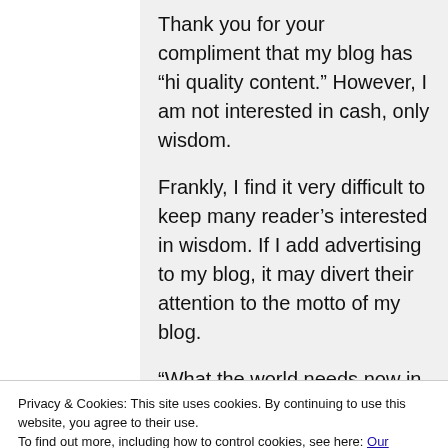Thank you for your compliment that my blog has “hi quality content.” However, I am not interested in cash, only wisdom.
Frankly, I find it very difficult to keep many reader’s interested in wisdom. If I add advertising to my blog, it may divert their attention to the motto of my blog.
“What the world needs now in addition to love is wisdom.”
Privacy & Cookies: This site uses cookies. By continuing to use this website, you agree to their use.
To find out more, including how to control cookies, see here: Our Cookie Policy
over the world. However, there is